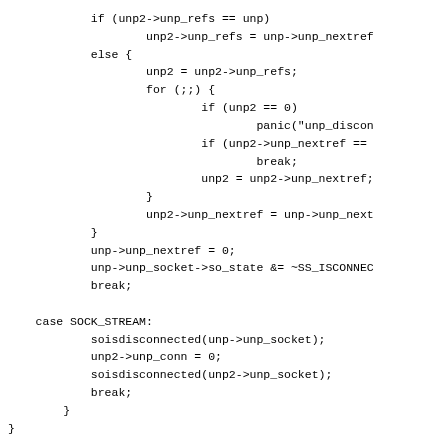Code fragment showing Unix domain socket disconnect logic and unp_abort function definition in C